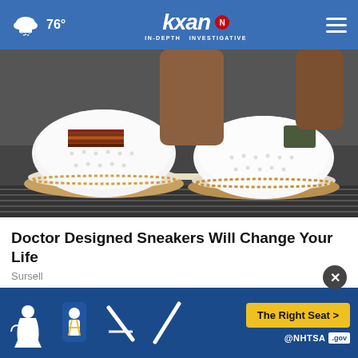76° kxan IN-DEPTH INVESTIGATIVE
[Figure (photo): Close-up photo of person wearing white sneakers with brown/tan sole detailing, colorful striped accent, and perforated upper, standing on pavement near a storm drain]
Doctor Designed Sneakers Will Change Your Life
Sursell
WHAT DO YOU THINK?
Do you think student loan forgiveness can or cannot legally be enacted by a sitting US president without the authorization of Congress?
[Figure (infographic): NHTSA advertisement banner showing car seat safety icons with 'The Right Seat >' call-to-action button and NHTSA .gov branding]